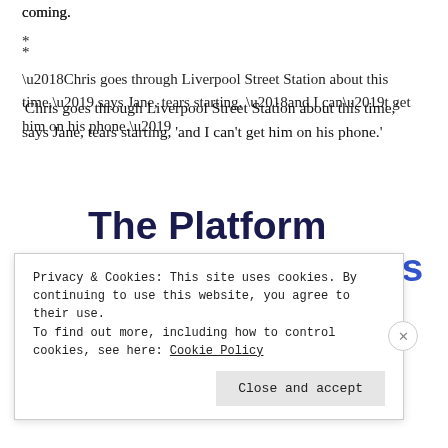coming.
*
‘Chris goes through Liverpool Street Station about this time,’ says Jane, tears starting, ‘and I can’t get him on his phone.’
[Figure (infographic): Advertisement banner: 'The Platform Where WordPress Works Best' with a blue SEE PRICING button]
Privacy & Cookies: This site uses cookies. By continuing to use this website, you agree to their use.
To find out more, including how to control cookies, see here: Cookie Policy
Close and accept